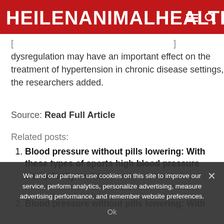HEILENANIMALHEALTH
[...] dysregulation may have an important effect on the treatment of hypertension in chronic disease settings,” the researchers added.
Source: Read Full Article
Related posts:
Blood pressure without pills lowering: With these types of sports high blood pressure can actually revise
Blood pressure without pills lowering: With
We and our partners use cookies on this site to improve our service, perform analytics, personalize advertising, measure advertising performance, and remember website preferences.